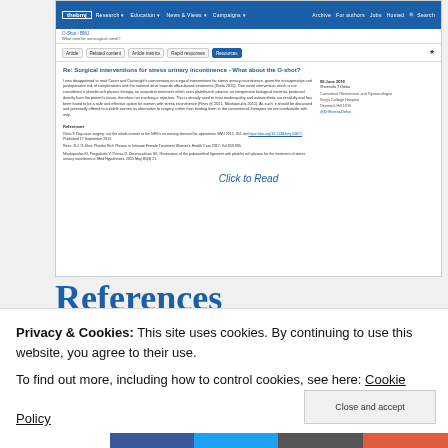[Figure (screenshot): Screenshot of BMJ website showing an article page titled 'Re: Surgical interventions for stress urinary incontinence - What about the O-shot?' with navigation bar, article tabs, main text content, author sidebar, references section, and a 'Click to Read' overlay button.]
References
Privacy & Cookies: This site uses cookies. By continuing to use this website, you agree to their use.
To find out more, including how to control cookies, see here: Cookie Policy
0
SHARES